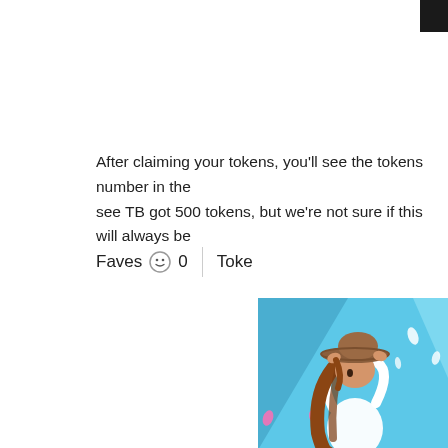After claiming your tokens, you'll see the tokens number in the see TB got 500 tokens, but we're not sure if this will always be
[Figure (screenshot): UI bar showing 'Faves' with a smiley icon and count 0, followed by a divider and partial 'Toke' label]
[Figure (illustration): Anime-style illustration of a girl in a white outfit and brown sun hat, with long flowing brown hair, against a light blue geometric background with white petals/confetti floating around. Pink petals visible on left side.]